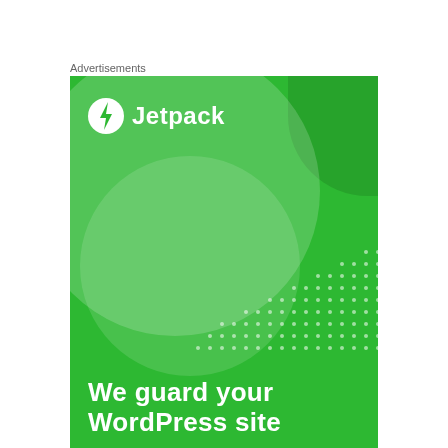Advertisements
[Figure (illustration): Jetpack advertisement banner. Green background with large semi-transparent circles creating a layered geometric design. Top-right dark green corner accent. Bottom-right white dot pattern. Jetpack logo (lightning bolt icon in white circle + 'Jetpack' text) in top-left. Bold white headline text reading 'We guard your WordPress site' at the bottom.]